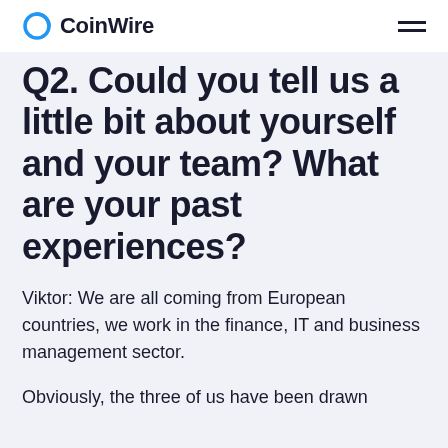CoinWire
Q2. Could you tell us a little bit about yourself and your team? What are your past experiences?
Viktor: We are all coming from European countries, we work in the finance, IT and business management sector.
Obviously, the three of us have been drawn